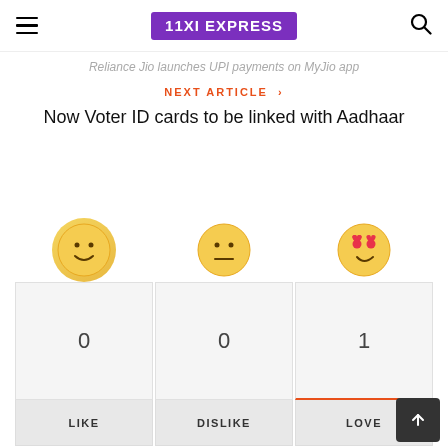11XI EXPRESS
Reliance Jio launches UPI payments on MyJio app
NEXT ARTICLE ›
Now Voter ID cards to be linked with Aadhaar
[Figure (infographic): Three emoji reaction buttons: smiley face (LIKE, count 0), neutral face (DISLIKE, count 0), heart-eyes face (LOVE, count 1)]